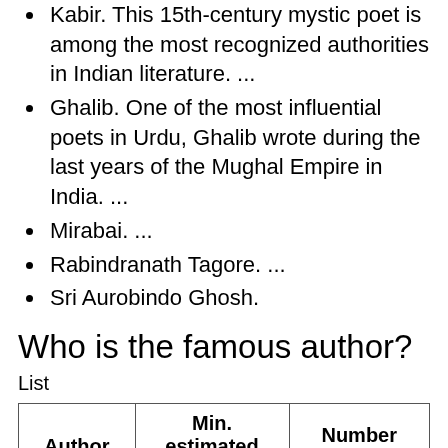Kabir. This 15th-century mystic poet is among the most recognized authorities in Indian literature. ...
Ghalib. One of the most influential poets in Urdu, Ghalib wrote during the last years of the Mughal Empire in India. ...
Mirabai. ...
Rabindranath Tagore. ...
Sri Aurobindo Ghosh.
Who is the famous author?
List
| Author | Min. estimated sales | Number of books |
| --- | --- | --- |